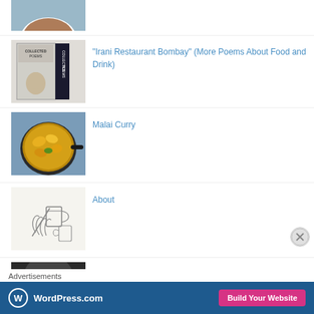[Figure (photo): Partial top thumbnail showing a white bowl with food (dark stew/curry) on a blue-gray background]
[Figure (photo): Book cover thumbnail with text and a portrait image, labeled 'Collected Poems']
"Irani Restaurant Bombay" (More Poems About Food and Drink)
[Figure (photo): Overhead photo of a dark pan with yellow/orange curry and peppers]
Malai Curry
[Figure (illustration): Sketch/line drawing of hands holding cups]
About
[Figure (photo): Partial bottom thumbnail showing a dark image]
Kalander (Saint Rock MI)
Advertisements
[Figure (screenshot): WordPress.com advertisement banner with 'Build Your Website' button]